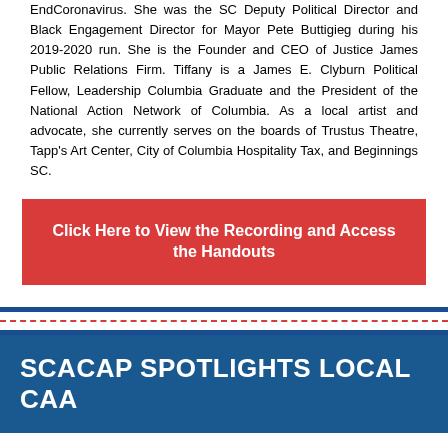EndCoronavirus. She was the SC Deputy Political Director and Black Engagement Director for Mayor Pete Buttigieg during his 2019-2020 run. She is the Founder and CEO of Justice James Public Relations Firm. Tiffany is a James E. Clyburn Political Fellow, Leadership Columbia Graduate and the President of the National Action Network of Columbia. As a local artist and advocate, she currently serves on the boards of Trustus Theatre, Tapp's Art Center, City of Columbia Hospitality Tax, and Beginnings SC.
Click Here to View the Recording and Access the Handouts
SCACAP SPOTLIGHTS LOCAL CAA
Pee Dee Community Action Partnership